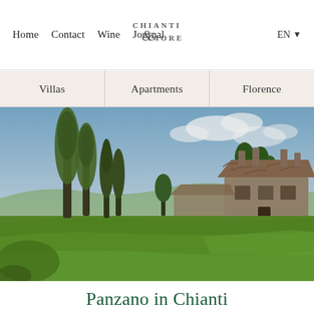Home  Contact  Wine  Journal  |  CHIANTI & MORE  |  EN
Villas  Apartments  Florence
[Figure (photo): Aerial view of a Tuscan stone villa with terracotta roof surrounded by tall cypress and poplar trees, green lawn in foreground, blue sky with clouds in background.]
Panzano in Chianti